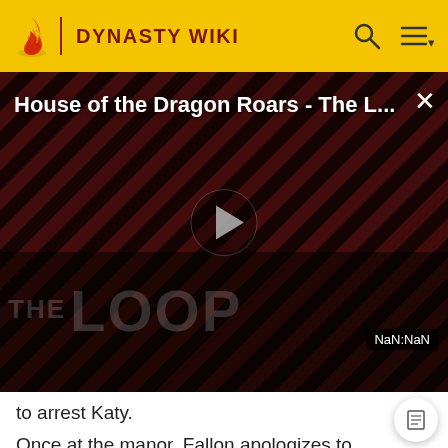DYNASTY WIKI
[Figure (screenshot): Video player showing 'House of the Dragon Roars - The L...' with diagonal red and black stripe background, play button in center, THE LOOP text watermark, dark figure silhouette, NaN:NaN time display, and close X button]
to arrest Katy.
Once at the manor, Fallon apologizes to Anders for gett him hurt and putting him in the middle again. He assures her that it's fine as he's lost count of how many times he's saved her life; he stopped counting when she was